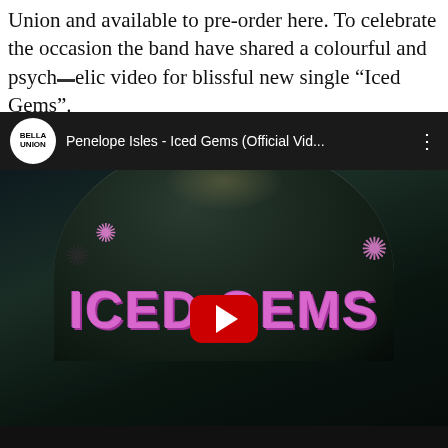Union and available to pre-order here. To celebrate the occasion the band have shared a colourful and psychedelic video for blissful new single “Iced Gems”.
[Figure (screenshot): YouTube video embed showing Penelope Isles - Iced Gems (Official Vid...) with Bella Union label logo, dark psychedelic video thumbnail featuring the text ICED GEMS in large pink letters, decorative snowflake symbols, and a red YouTube play button in the center.]